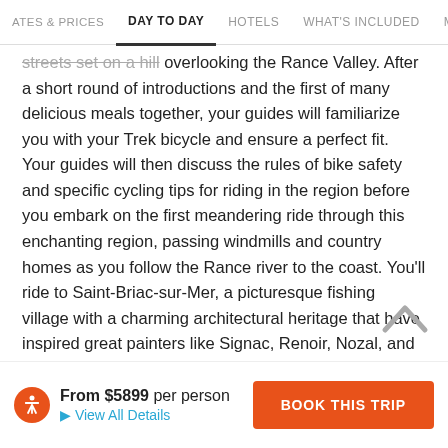ATES & PRICES  |  DAY TO DAY  |  HOTELS  |  WHAT'S INCLUDED  |  MORE INFO
streets set on a hill overlooking the Rance Valley. After a short round of introductions and the first of many delicious meals together, your guides will familiarize you with your Trek bicycle and ensure a perfect fit. Your guides will then discuss the rules of bike safety and specific cycling tips for riding in the region before you embark on the first meandering ride through this enchanting region, passing windmills and country homes as you follow the Rance river to the coast. You'll ride to Saint-Briac-sur-Mer, a picturesque fishing village with a charming architectural heritage that have inspired great painters like Signac, Renoir, Nozal, and Bernard. Tonight, we'll meet for cocktail hour and dinner at the hotel restaurant, toasting to a week of adventure ahead!
TODAY'S RIDE:
From $5899 per person
View All Details
BOOK THIS TRIP